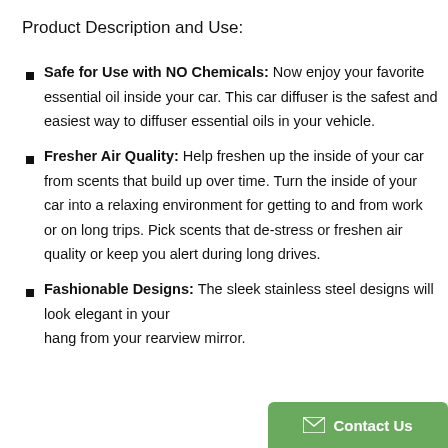Product Description and Use:
Safe for Use with NO Chemicals: Now enjoy your favorite essential oil inside your car. This car diffuser is the safest and easiest way to diffuser essential oils in your vehicle.
Fresher Air Quality: Help freshen up the inside of your car from scents that build up over time. Turn the inside of your car into a relaxing environment for getting to and from work or on long trips. Pick scents that de-stress or freshen air quality or keep you alert during long drives.
Fashionable Designs: The sleek stainless steel designs will look elegant in your hang from your rearview mirror.